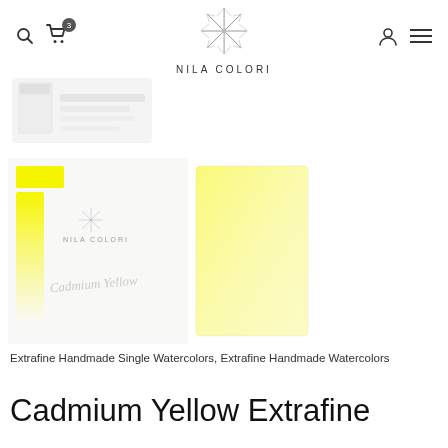NILA COLORI — navigation header with search, cart (3), user, and menu icons
[Figure (photo): Faded/ghosted image of a Nila Colori watercolor product at top left]
[Figure (photo): Product image showing Nila Colori Cadmium Yellow watercolor pan with swatch — left side shows the pan with yellow paint swatch gradient, right side shows a yellow watercolor wash on paper]
Extrafine Handmade Single Watercolors, Extrafine Handmade Watercolors
Cadmium Yellow Extrafine